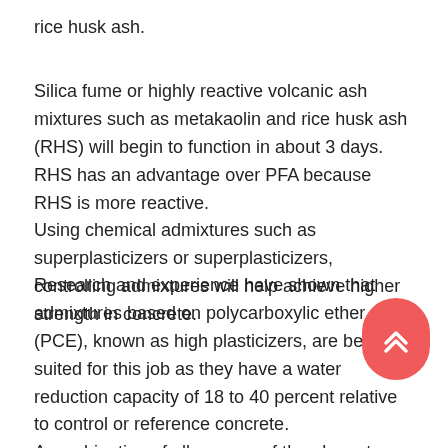rice husk ash.
Silica fume or highly reactive volcanic ash mixtures such as metakaolin and rice husk ash (RHS) will begin to function in about 3 days.  RHS has an advantage over PFA because RHS is more reactive.
Using chemical admixtures such as superplasticizers or superplasticizers, controlling admixtures will help achieve higher strength in concrete.
Research and experience have shown that admixtures based on polycarboxylic ether (PCE), known as high plasticizers, are best suited for this job as they have a water reduction capacity of 18 to 40 percent relative to control or reference concrete.
A combination of all or more of the above to achieve the